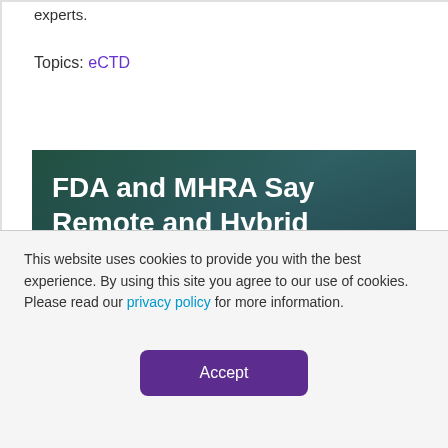experts.
Topics: eCTD
[Figure (photo): A technology-themed banner image showing hands on a laptop with digital network icons overlaid, with the text 'FDA and MHRA Say Remote and Hybrid Inspections to Continue' in white bold font.]
This website uses cookies to provide you with the best experience. By using this site you agree to our use of cookies. Please read our privacy policy for more information.
Accept